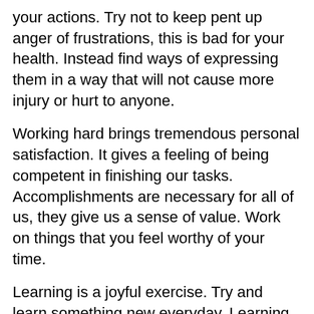your actions. Try not to keep pent up anger of frustrations, this is bad for your health. Instead find ways of expressing them in a way that will not cause more injury or hurt to anyone.
Working hard brings tremendous personal satisfaction. It gives a feeling of being competent in finishing our tasks. Accomplishments are necessary for all of us, they give us a sense of value. Work on things that you feel worthy of your time.
Learning is a joyful exercise. Try and learn something new everyday. Learning also makes us expand and broaden our horizons. And could also give us more opportunities in the future.
Run, jog, walk and do other things that your body was made for. Feel alive.
Avoid exposure to negative elements like loud noises,